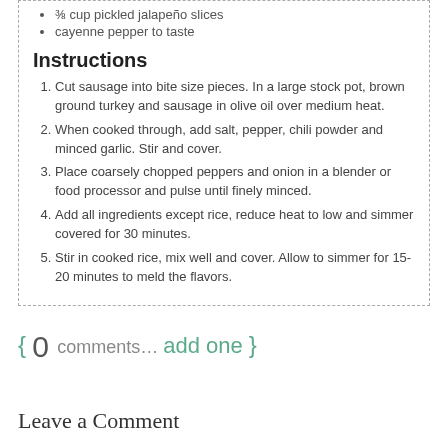⅜ cup pickled jalapeño slices
cayenne pepper to taste
Instructions
Cut sausage into bite size pieces. In a large stock pot, brown ground turkey and sausage in olive oil over medium heat.
When cooked through, add salt, pepper, chili powder and minced garlic. Stir and cover.
Place coarsely chopped peppers and onion in a blender or food processor and pulse until finely minced.
Add all ingredients except rice, reduce heat to low and simmer covered for 30 minutes.
Stir in cooked rice, mix well and cover. Allow to simmer for 15-20 minutes to meld the flavors.
{ 0 comments… add one }
Leave a Comment